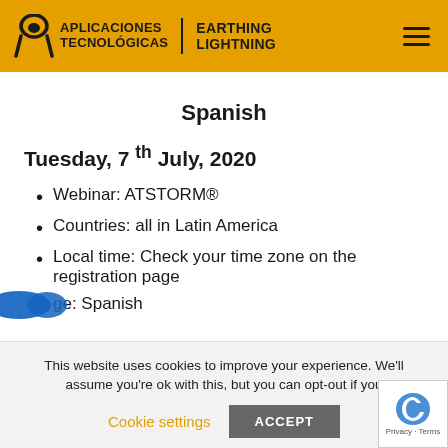APLICACIONES TECNOLÓGICAS | EARTHING LIGHTNING
Spanish
Tuesday, 7th July, 2020
Webinar: ATSTORM®
Countries: all in Latin America
Local time: Check your time zone on the registration page
Language: Spanish
This website uses cookies to improve your experience. We'll assume you're ok with this, but you can opt-out if you
Cookie settings   ACCEPT